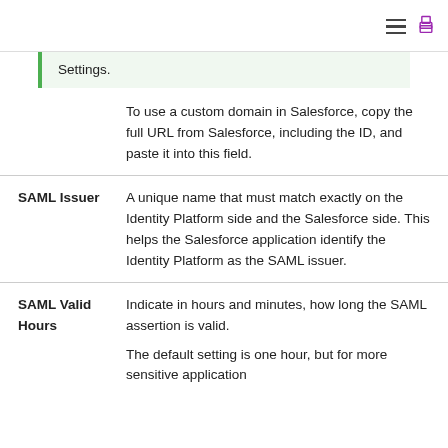Settings.
To use a custom domain in Salesforce, copy the full URL from Salesforce, including the ID, and paste it into this field.
| Field | Description |
| --- | --- |
| SAML Issuer | A unique name that must match exactly on the Identity Platform side and the Salesforce side. This helps the Salesforce application identify the Identity Platform as the SAML issuer. |
| SAML Valid Hours | Indicate in hours and minutes, how long the SAML assertion is valid.

The default setting is one hour, but for more sensitive application |